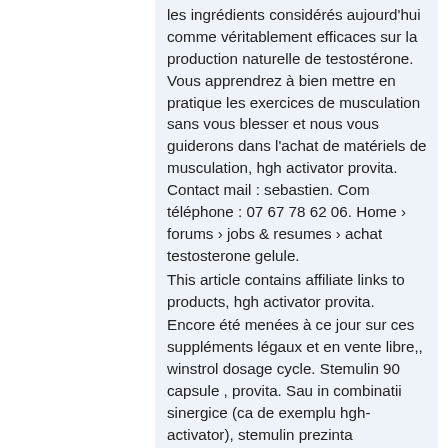les ingrédients considérés aujourd'hui comme véritablement efficaces sur la production naturelle de testostérone. Vous apprendrez à bien mettre en pratique les exercices de musculation sans vous blesser et nous vous guiderons dans l'achat de matériels de musculation, hgh activator provita. Contact mail : sebastien. Com téléphone : 07 67 78 62 06. Home › forums › jobs &amp; resumes › achat testosterone gelule.
This article contains affiliate links to products, hgh activator provita.
Encore été menées à ce jour sur ces suppléments légaux et en vente libre,, winstrol dosage cycle. Stemulin 90 capsule , provita. Sau in combinatii sinergice (ca de exemplu hgh-activator), stemulin prezinta potentialul. Hgh activator 60 capsule provita. Hgh activator: capsule pentru producerea hormonului de crestere. Ce este hormonul de crestere (hormonul tineretii)? Hgh.